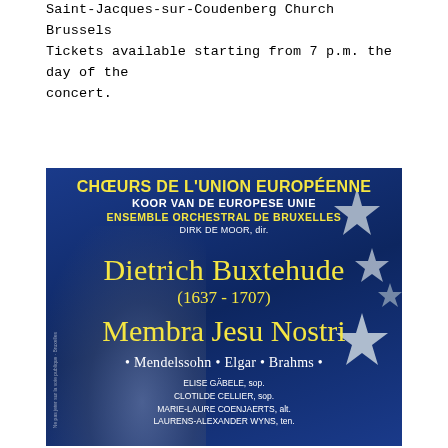Saint-Jacques-sur-Coudenberg Church  Brussels
Tickets available starting from 7 p.m. the day of the concert.
[Figure (illustration): Concert poster for Choeurs de l'Union Européenne / Koor van de Europese Unie with Ensemble Orchestral de Bruxelles, directed by Dirk De Moor. Features Dietrich Buxtehude (1637-1707) Membra Jesu Nostri, plus Mendelssohn, Elgar, Brahms. Soloists: Elise Gäbele sop., Clotilde Cellier sop., Marie-Laure Coenjaerts alt., Laurens-Alexander Wyns ten. Blue background with EU stars and choir silhouettes.]